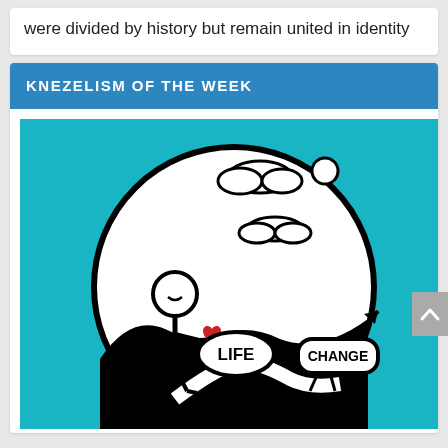were divided by history but remain united in identity
KNEZELISM OF THE WEEK
[Figure (illustration): Illustration on teal background showing a circle containing a stick figure holding a red heart, standing on a black and white landscape with clouds and a sun above. Two speech-bubble-like shapes read 'LIFE' and 'CHANGE' with an upward arrow.]